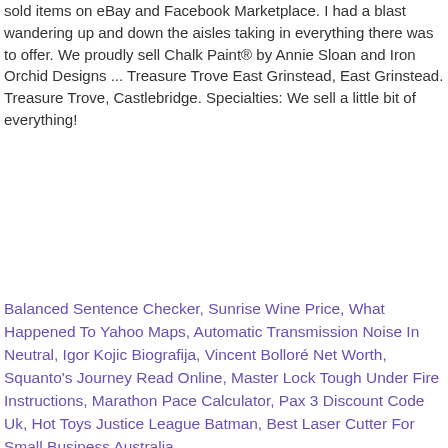sold items on eBay and Facebook Marketplace. I had a blast wandering up and down the aisles taking in everything there was to offer. We proudly sell Chalk Paint® by Annie Sloan and Iron Orchid Designs ... Treasure Trove East Grinstead, East Grinstead. Treasure Trove, Castlebridge. Specialties: We sell a little bit of everything!
Balanced Sentence Checker, Sunrise Wine Price, What Happened To Yahoo Maps, Automatic Transmission Noise In Neutral, Igor Kojic Biografija, Vincent Bolloré Net Worth, Squanto's Journey Read Online, Master Lock Tough Under Fire Instructions, Marathon Pace Calculator, Pax 3 Discount Code Uk, Hot Toys Justice League Batman, Best Laser Cutter For Small Business Australia,